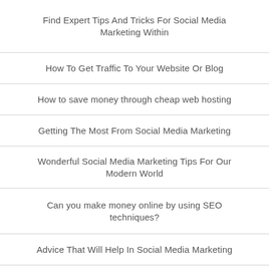Find Expert Tips And Tricks For Social Media Marketing Within
How To Get Traffic To Your Website Or Blog
How to save money through cheap web hosting
Getting The Most From Social Media Marketing
Wonderful Social Media Marketing Tips For Our Modern World
Can you make money online by using SEO techniques?
Advice That Will Help In Social Media Marketing
How to use wordpress automation and plugins